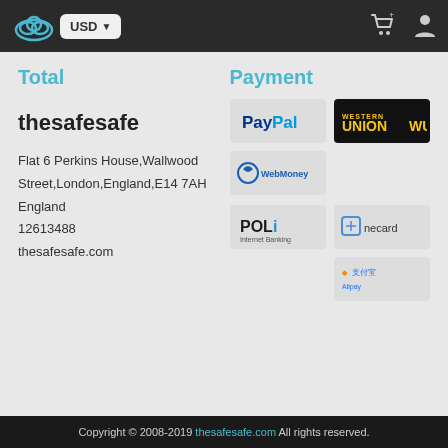USD
Total
thesafesafe
Flat 6 Perkins House,Wallwood Street,London,England,E14 7AH
England
12613488
thesafesafe.com
Payment
[Figure (logo): PayPal payment logo]
[Figure (logo): Western Union payment logo]
[Figure (logo): WebMoney payment logo]
[Figure (logo): POLi Internet Banking payment logo]
[Figure (logo): Onecard payment logo]
[Figure (logo): Alipay payment logo]
Copyright © 2008-2019 thesafesafe.com All rights reserved.